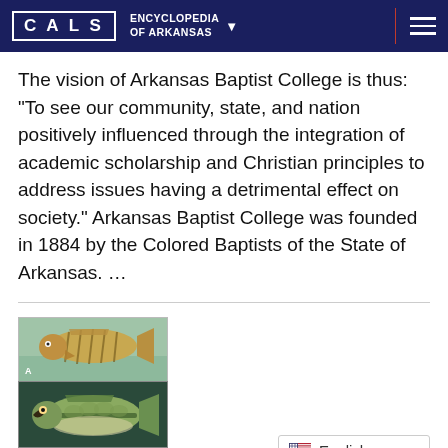CALS ENCYCLOPEDIA OF ARKANSAS
The vision of Arkansas Baptist College is thus: “To see our community, state, and nation positively influenced through the integration of academic scholarship and Christian principles to address issues having a detrimental effect on society.” Arkansas Baptist College was founded in 1884 by the Colored Baptists of the State of Arkansas. …
[Figure (photo): Two fish photographs stacked vertically: top shows a striped freshwater bass illustration with greenish background (labeled A), bottom shows a largemouth bass photograph on dark background.]
Arkansas Basses